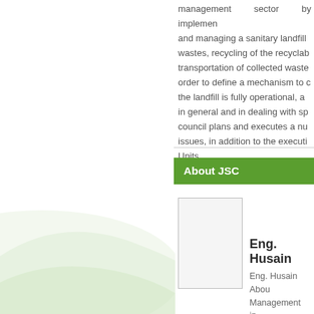management sector by implementing and managing a sanitary landfill wastes, recycling of the recyclable transportation of collected waste order to define a mechanism to c the landfill is fully operational, a in general and in dealing with sp council plans and executes a nu issues, in addition to the executi Units.
About JSC
[Figure (photo): Portrait photo placeholder of Eng. Husain]
Eng. Husain
Eng. Husain Abou Management in ...